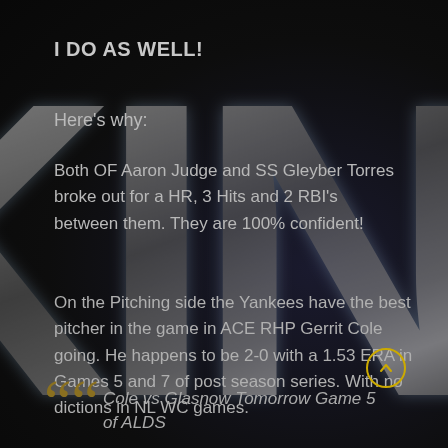I DO AS WELL!
Here's why:
Both OF Aaron Judge and SS Gleyber Torres broke out for a HR, 3 Hits and 2 RBI's between them. They are 100% confident!
On the Pitching side the Yankees have the best pitcher in the game in ACE RHP Gerrit Cole going. He happens to be 2-0 with a 1.53 ERA in Games 5 and 7 of post season series. With no dictions in NL WC games.
“Cole vs Glasnow Tomorrow Game 5 of ALDS